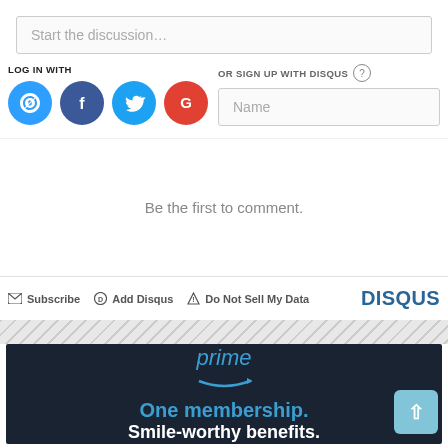Start the discussion…
LOG IN WITH
OR SIGN UP WITH DISQUS
[Figure (screenshot): Name input field placeholder]
[Figure (infographic): Social login icons: Disqus (blue), Facebook (dark blue), Twitter (light blue), Google (red)]
Be the first to comment.
Subscribe  Add Disqus  Do Not Sell My Data  DISQUS
[Figure (infographic): Amazon Prime advertisement banner with text: prime, One membership. Smile-worthy benefits.]